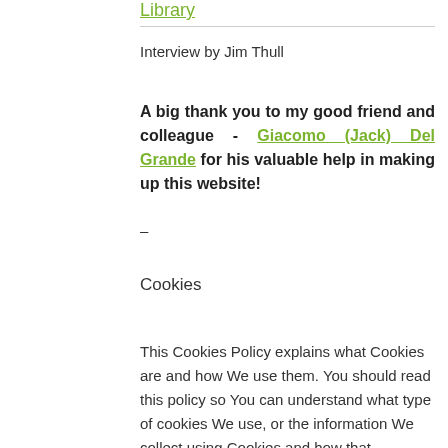Library
Interview by Jim Thull
A big thank you to my good friend and colleague - Giacomo (Jack) Del Grande for his valuable help in making up this website!
–
Cookies
This Cookies Policy explains what Cookies are and how We use them. You should read this policy so You can understand what type of cookies We use, or the information We collect using Cookies and how that information is used. This Cookies Policy has been created with the help of <a href="https://www.termsfeed.com/cookies-policy-generator/">Cookies Policy Generator</a>.</p>